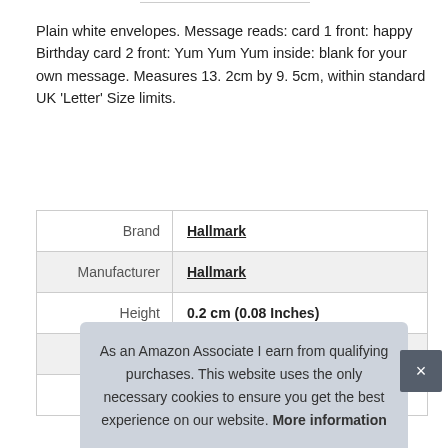Plain white envelopes. Message reads: card 1 front: happy Birthday card 2 front: Yum Yum Yum inside: blank for your own message. Measures 13. 2cm by 9. 5cm, within standard UK 'Letter' Size limits.
|  |  |
| --- | --- |
| Brand | Hallmark |
| Manufacturer | Hallmark |
| Height | 0.2 cm (0.08 Inches) |
| Length | 13.2 cm (5.2 Inches) |
| Width | 9.5 cm (3.74 Inches) |
As an Amazon Associate I earn from qualifying purchases. This website uses the only necessary cookies to ensure you get the best experience on our website. More information